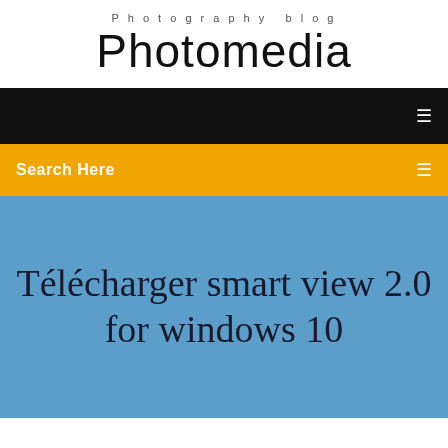Photography blog
Photomedia
[Figure (screenshot): Black navigation bar with a white menu icon on the right]
Search Here
Télécharger smart view 2.0 for windows 10